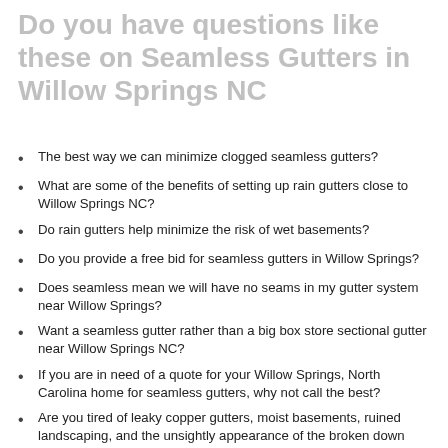Do you have questions like these on Seamless Gutters in Willow Springs NC
The best way we can minimize clogged seamless gutters?
What are some of the benefits of setting up rain gutters close to Willow Springs NC?
Do rain gutters help minimize the risk of wet basements?
Do you provide a free bid for seamless gutters in Willow Springs?
Does seamless mean we will have no seams in my gutter system near Willow Springs?
Want a seamless gutter rather than a big box store sectional gutter near Willow Springs NC?
If you are in need of a quote for your Willow Springs, North Carolina home for seamless gutters, why not call the best?
Are you tired of leaky copper gutters, moist basements, ruined landscaping, and the unsightly appearance of the broken down copper gutters on your home?
There are some excellent residential properties near Willow Springs, are your protecting yours with seamless rain gutters?